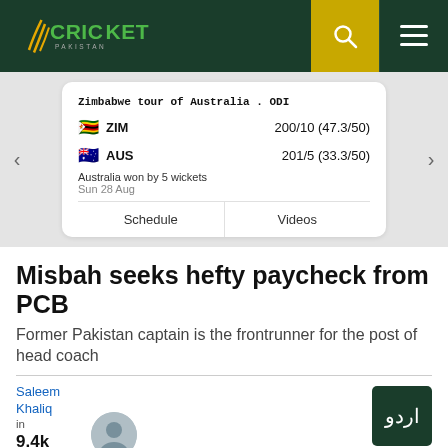Cricket Pakistan
[Figure (infographic): Cricket score card: Zimbabwe tour of Australia . ODI. ZIM 200/10 (47.3/50), AUS 201/5 (33.3/50). Australia won by 5 wickets. Sun 28 Aug. Buttons: Schedule, Videos]
Misbah seeks hefty paycheck from PCB
Former Pakistan captain is the frontrunner for the post of head coach
Saleem Khaliq in Karachi 9.4k Shares